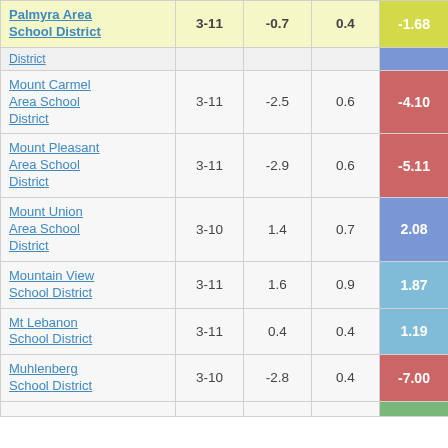| School District | Grades | Col3 | Col4 | Score |
| --- | --- | --- | --- | --- |
| Palmyra Area School District | 3-11 | -0.7 | 0.4 | -1.68 |
| (truncated row) |  |  |  |  |
| Mount Carmel Area School District | 3-11 | -2.5 | 0.6 | -4.10 |
| Mount Pleasant Area School District | 3-11 | -2.9 | 0.6 | -5.11 |
| Mount Union Area School District | 3-10 | 1.4 | 0.7 | 2.08 |
| Mountain View School District | 3-11 | 1.6 | 0.9 | 1.87 |
| Mt Lebanon School District | 3-11 | 0.4 | 0.4 | 1.19 |
| Muhlenberg School District | 3-10 | -2.8 | 0.4 | -7.00 |